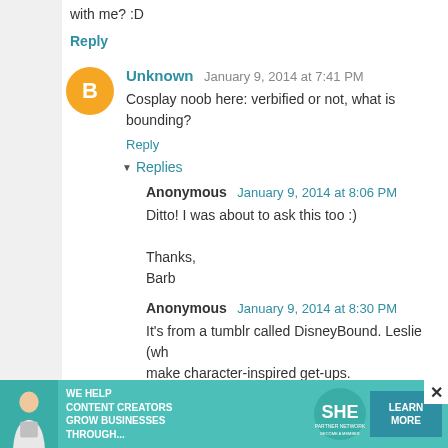with me? :D
Reply
Unknown  January 9, 2014 at 7:41 PM
Cosplay noob here: verbified or not, what is bounding?
Reply
Replies
Anonymous  January 9, 2014 at 8:06 PM
Ditto! I was about to ask this too :)

Thanks,
Barb
Anonymous  January 9, 2014 at 8:30 PM
It's from a tumblr called DisneyBound. Leslie (wh...
make character-inspired get-ups.
[Figure (infographic): SHE Partner Network advertisement banner with woman holding laptop, text: WE HELP CONTENT CREATORS GROW BUSINESSES THROUGH... SHE PARTNER NETWORK BECOME A MEMBER, with LEARN MORE button]